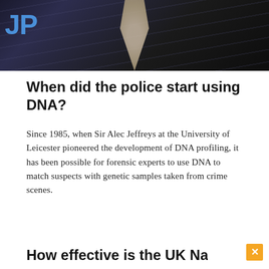[Figure (photo): Cropped photo of a person in a dark pinstripe suit with a patterned tie, partial 'JP' text visible in blue top-left]
When did the police start using DNA?
Since 1985, when Sir Alec Jeffreys at the University of Leicester pioneered the development of DNA profiling, it has been possible for forensic experts to use DNA to match suspects with genetic samples taken from crime scenes.
How effective is the UK National DNA Database?